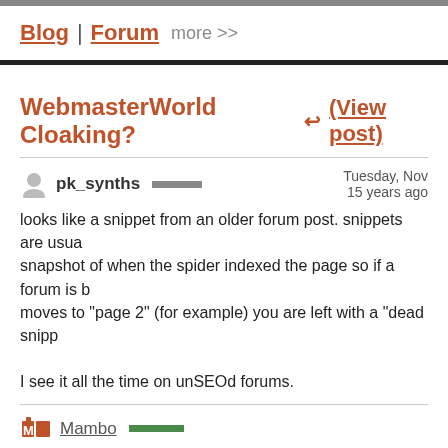Blog | Forum  more >>
WebmasterWorld Cloaking? ↩ (View post)
pk_synths  ▬▬▬  Tuesday, Nov  15 years ago
looks like a snippet from an older forum post. snippets are usually a snapshot of when the spider indexed the page so if a forum is b... moves to "page 2" (for example) you are left with a "dead snipp...
I see it all the time on unSEOd forums.
Mambo ▬▬▬